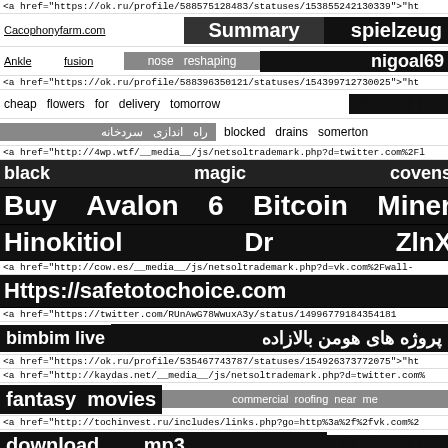<a href="https://ok.ru/profile/588575128483/statuses/153855242130339">"ht
Cacophonyfarm.com    Summary    spielzeug
Ankle    fusion    nose    reshaping    nigoal69
<a href="https://ok.ru/profile/588396350121/statuses/154399712730025">"ht
cheap    flowers    for    delivery    tomorrow    ████████
راه اندازی سردخانه    blocked    drains    somerton
<a href="http://4wp.wtf/__media__/js/netsoltrademark.php?d=twitter.com%2Fl
black    magic    covens
Buy    Avalon    6    Bitcoin    Miner
Hinokitiol    Dr    ZlnX
<a href="http://cow.es/__media__/js/netsoltrademark.php?d=vk.com%2Fwall-
Https://safetotochoice.com
<a href="https://twitter.com/RUnAwG78WwuxA3y/status/14996779184354181
bimbim live    پروژه های هومن بالازاده
<a href="https://ok.ru/profile/535467743787/statuses/154926373772075">"ht
<a href="http://kaydas.net/__media__/js/netsoltrademark.php?d=twitter.com%
fantasy    movies    commercial    roofing    near    me
<a href="http://tochinvest.ru/includes/links.php?go=http%3a%2f%2fvk.com%2
download    mp3    ██████████
local    SEO    near    Oakbrook    Terrace    IL
que es un estudio de mecanica de suelos    Amtrust insurance